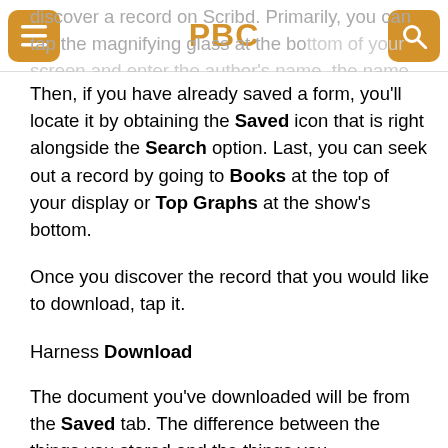PBC
discover a record on Scribd. Primarily, you can tap the magnifying glass at the bottom of your screen and enter the author’s name, the name of this record, or a keyword.
Then, if you have already saved a form, you’ll locate it by obtaining the Saved icon that is right alongside the Search option. Last, you can seek out a record by going to Books at the top of your display or Top Graphs at the show’s bottom.
Once you discover the record that you would like to download, tap it.
Harness Download
The document you’ve downloaded will be from the Saved tab. The difference between the things you stored and the things you downloaded is that you will have the ability to get into the downloaded things even if you’re